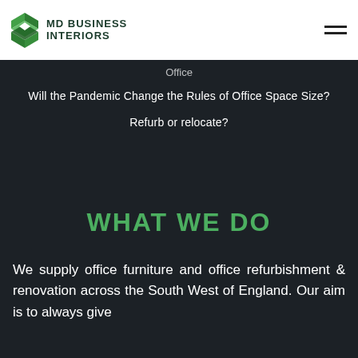[Figure (logo): MD Business Interiors logo with green geometric diamond/cube shape and company name in dark green uppercase text]
Office
Will the Pandemic Change the Rules of Office Space Size?
Refurb or relocate?
WHAT WE DO
We supply office furniture and office refurbishment & renovation across the South West of England. Our aim is to always give